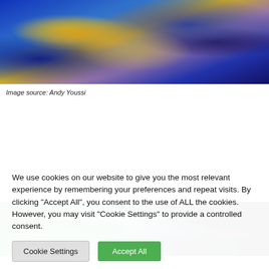[Figure (photo): Close-up photo of colorful artwork or textured surface with blue, purple, teal, yellow/gold colors — appears to be decorative illustration or mosaic. Image source: Andy Youssi.]
Image source: Andy Youssi
[Figure (photo): Close-up photo of green, teal and dark textured surface, possibly reptile skin or mosaic, with dark right side and a red vertical element.]
We use cookies on our website to give you the most relevant experience by remembering your preferences and repeat visits. By clicking "Accept All", you consent to the use of ALL the cookies. However, you may visit "Cookie Settings" to provide a controlled consent.